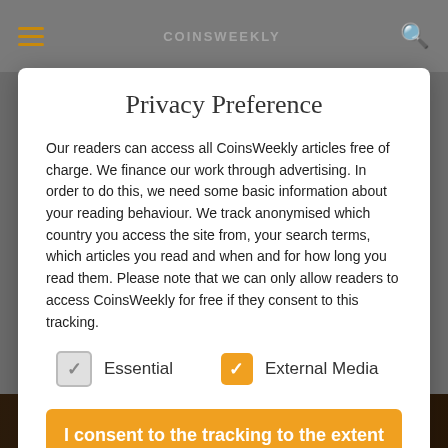CoinsWeekly navigation header with hamburger menu and search icon
Privacy Preference
Our readers can access all CoinsWeekly articles free of charge. We finance our work through advertising. In order to do this, we need some basic information about your reading behaviour. We track anonymised which country you access the site from, your search terms, which articles you read and when and for how long you read them. Please note that we can only allow readers to access CoinsWeekly for free if they consent to this tracking.
Essential (unchecked) | External Media (checked)
I consent to the tracking to the extent agreed.
Individual Settings
[Figure (photo): Dark bottom image showing historical scene]